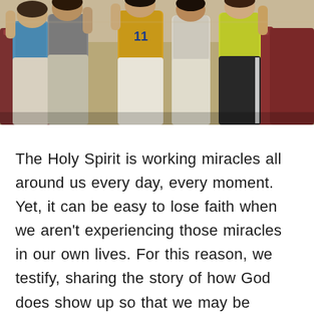[Figure (photo): Group of children and young people indoors, one wearing a yellow jersey with number 11, others in various colored shirts, standing/raising hands, with red chairs visible in background.]
The Holy Spirit is working miracles all around us every day, every moment. Yet, it can be easy to lose faith when we aren't experiencing those miracles in our own lives. For this reason, we testify, sharing the story of how God does show up so that we may be encouraged and our faith can be restored.
Every year we send a number of adults and families to Camp Penuel in Costa Rica–one of